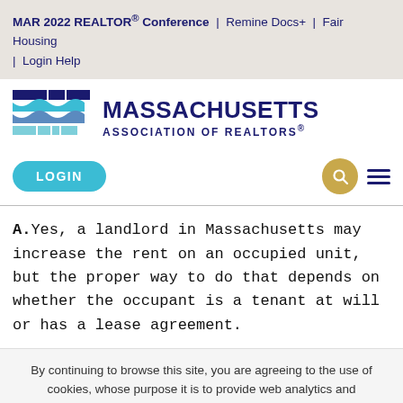MAR 2022 REALTOR® Conference | Remine Docs+ | Fair Housing | Login Help
[Figure (logo): Massachusetts Association of Realtors logo with stylized wave/M mark in blue and teal tones]
MASSACHUSETTS ASSOCIATION OF REALTORS®
LOGIN
A.Yes, a landlord in Massachusetts may increase the rent on an occupied unit, but the proper way to do that depends on whether the occupant is a tenant at will or has a lease agreement.
By continuing to browse this site, you are agreeing to the use of cookies, whose purpose it is to provide web analytics and measurements of visitor traffic and browsing behavior. Cookie settings  ACCEPT